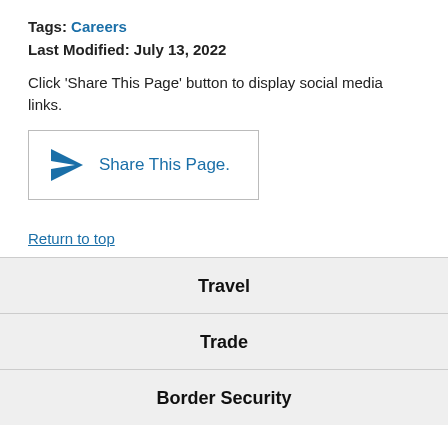Tags: Careers
Last Modified: July 13, 2022
Click ‘Share This Page’ button to display social media links.
[Figure (other): Share This Page button with paper airplane icon]
Return to top
Travel
Trade
Border Security